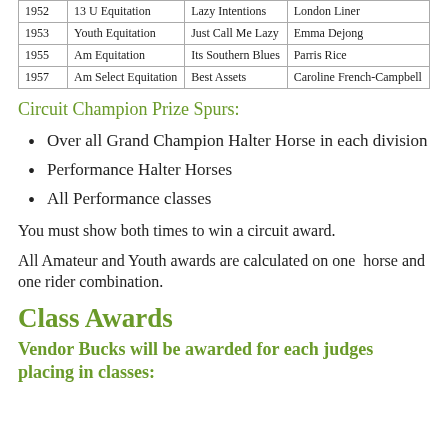| Year | Class | Horse | Rider |
| --- | --- | --- | --- |
| 1952 | 13 U Equitation | Lazy Intentions | London Liner |
| 1953 | Youth Equitation | Just Call Me Lazy | Emma Dejong |
| 1955 | Am Equitation | Its Southern Blues | Parris Rice |
| 1957 | Am Select Equitation | Best Assets | Caroline French-Campbell |
Circuit Champion Prize Spurs:
Over all Grand Champion Halter Horse in each division
Performance Halter Horses
All Performance classes
You must show both times to win a circuit award.
All Amateur and Youth awards are calculated on one  horse and  one rider combination.
Class Awards
Vendor Bucks will be awarded for each judges placing in classes: